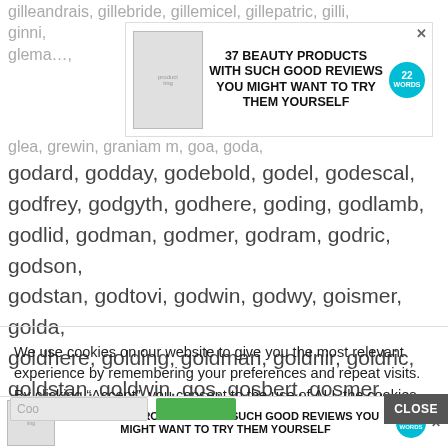gilleandrais, gillebride, gillemicel, gillepatric, gilli, ginni, glema…, glea, grewin, graniam m, goa, goda,
godard, godday, godebold, godel, godescal, godfrey, godgyth, godhere, goding, godlamb, godlid, godman, godmer, godram, godric, godson, godstan, godtovi, godwin, godwy, goismer, golda, goldhere, golding, goldman, goldnir, goldric, goldstan, goldwin, gos, gosbert, gosmer, gospatric, gotar, goti, gotshelm, gozo, grapinel,
[Figure (screenshot): Advertisement banner: 37 BEAUTY PRODUCTS WITH SUCH GOOD REVIEWS YOU MIGHT WANT TO TRY THEM YOURSELF with product image and 22 WORDS badge]
We use cookies on our website to give you the most relevant experience by remembering your preferences and repeat visits. By clicking “Accept”, you consent to the use of ALL the cookies.
Do not sell my personal information.
[Figure (screenshot): CLOSE button and cookie settings row with input fields and green button]
[Figure (screenshot): Bottom advertisement banner: 37 BEAUTY PRODUCTS WITH SUCH GOOD REVIEWS YOU MIGHT WANT TO TRY THEM YOURSELF with product image and 22 WORDS badge]